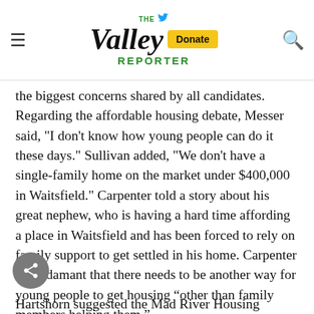THE Valley REPORTER — Donate
the biggest concerns shared by all candidates. Regarding the affordable housing debate, Messer said, "I don't know how young people can do it these days." Sullivan added, "We don't have a single-family home on the market under $400,000 in Waitsfield." Carpenter told a story about his great nephew, who is having a hard time affording a place in Waitsfield and has been forced to rely on family support to get settled in his home. Carpenter was adamant that there needs to be another way for young people to get housing “other than family members helping them.”
Hartshorn suggested the Mad River Housing